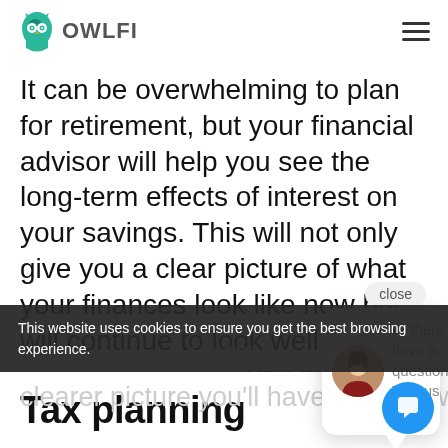OWLFI
It can be overwhelming to plan for retirement, but your financial advisor will help you see the long-term effects of interest on your savings. This will not only give you a clear picture of what your finances look like now but will continue to look well ... you meet w... prepared yo...
Hi there, have a question? Text us here.
This website uses cookies to ensure you get the best browsing experience.
Tax planning